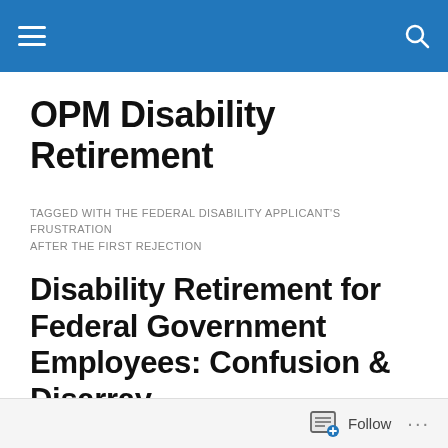OPM Disability Retirement — site header navigation bar
OPM Disability Retirement
TAGGED WITH THE FEDERAL DISABILITY APPLICANT'S FRUSTRATION AFTER THE FIRST REJECTION
Disability Retirement for Federal Government Employees: Confusion & Disarray
Follow